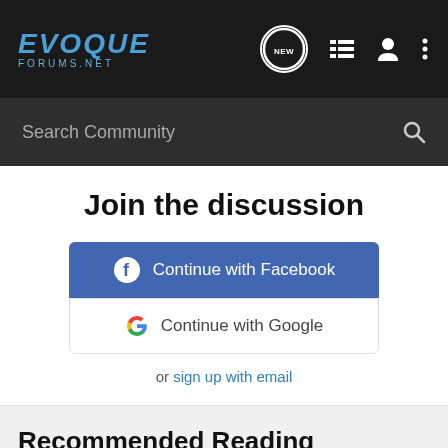EVOQUE FORUMS.NET
Search Community
Join the discussion
Continue with Facebook
Continue with Google
or sign up with email
Recommended Reading
Brake Pedal height
Evoque Forum